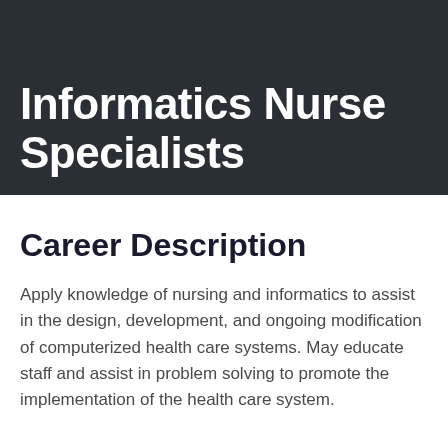Informatics Nurse Specialists
Career Description
Apply knowledge of nursing and informatics to assist in the design, development, and ongoing modification of computerized health care systems. May educate staff and assist in problem solving to promote the implementation of the health care system.
What Job Titles